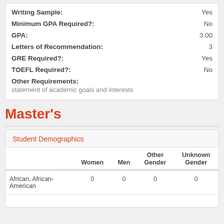| Field | Value |
| --- | --- |
| Writing Sample: | Yes |
| Minimum GPA Required?: | No |
| GPA: | 3.00 |
| Letters of Recommendation: | 3 |
| GRE Required?: | Yes |
| TOEFL Required?: | No |
| Other Requirements: | statement of academic goals and interests |
Master's
Student Demographics
|  | Women | Men | Other Gender | Unknown Gender |
| --- | --- | --- | --- | --- |
| African, African-American | 0 | 0 | 0 | 0 |